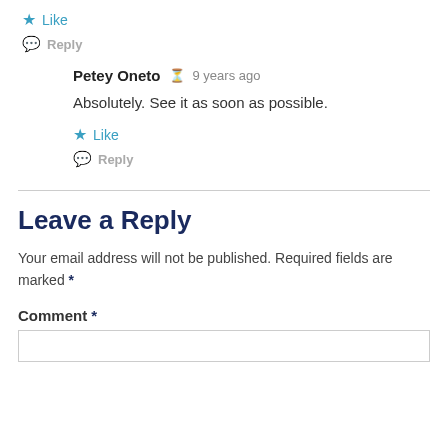★ Like
💬 Reply
Petey Oneto  🕐 9 years ago
Absolutely. See it as soon as possible.
★ Like
💬 Reply
Leave a Reply
Your email address will not be published. Required fields are marked *
Comment *